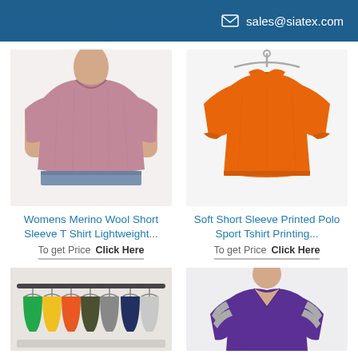sales@siatex.com
[Figure (photo): Woman wearing a pink/mauve short sleeve t-shirt (Womens Merino Wool Short Sleeve T Shirt)]
[Figure (photo): Orange polo sport short sleeve t-shirt on a hanger]
Womens Merino Wool Short Sleeve T Shirt Lightweight...
To get Price  Click Here
Soft Short Sleeve Printed Polo Sport Tshirt Printing...
To get Price  Click Here
[Figure (photo): Multiple colorful t-shirts hanging on a clothing rack]
[Figure (photo): Woman wearing a purple and grey striped v-neck t-shirt]